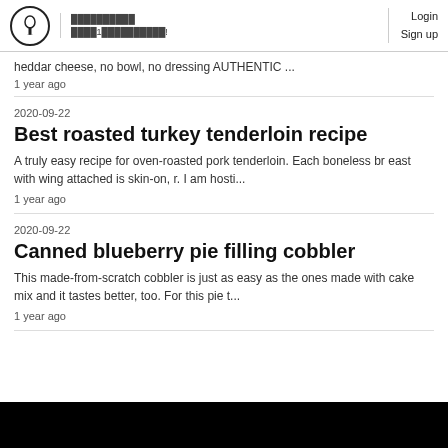Login Sign up
heddar cheese, no bowl, no dressing AUTHENTIC ...
1 year ago
2020-09-22
Best roasted turkey tenderloin recipe
A truly easy recipe for oven-roasted pork tenderloin. Each boneless breast with wing attached is skin-on, r. I am hosti...
1 year ago
2020-09-22
Canned blueberry pie filling cobbler
This made-from-scratch cobbler is just as easy as the ones made with cake mix and it tastes better, too. For this pie t...
1 year ago